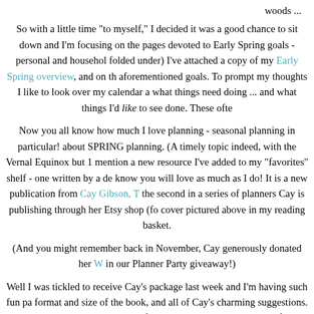woods ...
So with a little time "to myself," I decided it was a good chance to sit down and I'm focusing on the pages devoted to Early Spring goals - personal and household folded under) I've attached a copy of my Early Spring overview, and on the aforementioned goals. To prompt my thoughts I like to look over my calendar a what things need doing ... and what things I'd like to see done. These ofte
Now you all know how much I love planning - seasonal planning in particular! about SPRING planning. (A timely topic indeed, with the Vernal Equinox but 1 mention a new resource I've added to my "favorites" shelf - one written by a de know you will love as much as I do! It is a new publication from Cay Gibson, T the second in a series of planners Cay is publishing through her Etsy shop (fo cover pictured above in my reading basket.
(And you might remember back in November, Cay generously donated her W in our Planner Party giveaway!)
Well I was tickled to receive Cay's package last week and I'm having such fun pa format and size of the book, and all of Cay's charming suggestions. There are m with reminders of what happens when, and pages for personal notes throughout room for meal planning, nature sketches, monthly goals and "prayerful ponderin so excited for Spring, and reminds me that there is time for it all of that seasonal